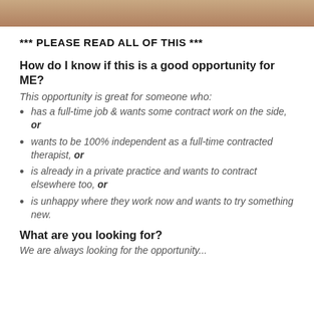[Figure (photo): Partial photo strip at top of page, showing what appears to be hands or a person, warm tones]
*** PLEASE READ ALL OF THIS ***
How do I know if this is a good opportunity for ME?
This opportunity is great for someone who:
has a full-time job & wants some contract work on the side, or
wants to be 100% independent as a full-time contracted therapist, or
is already in a private practice and wants to contract elsewhere too, or
is unhappy where they work now and wants to try something new.
What are you looking for?
We are always looking for the opportunity...